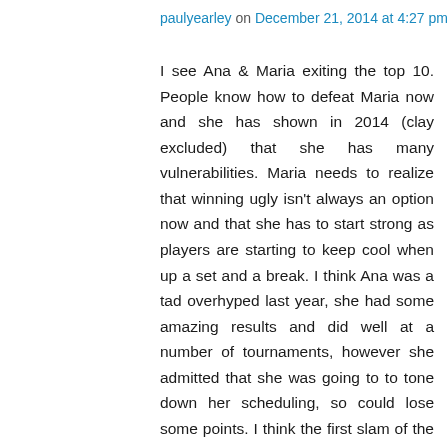paulyearley on December 21, 2014 at 4:27 pm
I see Ana & Maria exiting the top 10. People know how to defeat Maria now and she has shown in 2014 (clay excluded) that she has many vulnerabilities. Maria needs to realize that winning ugly isn't always an option now and that she has to start strong as players are starting to keep cool when up a set and a break. I think Ana was a tad overhyped last year, she had some amazing results and did well at a number of tournaments, however she admitted that she was going to to tone down her scheduling, so could lose some points. I think the first slam of the year is key for Ana. If she starts well she'll carry the momentum forward, if she doesn't i think she'll slide. 🙂